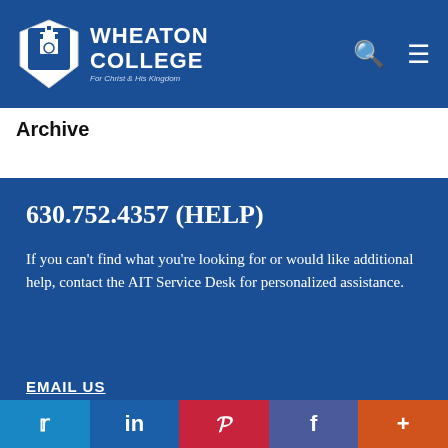[Figure (logo): Wheaton College shield logo with blue background header, WHEATON COLLEGE text and tagline 'For Christ and His Kingdom', search and menu icons]
Archive
630.752.4357 (HELP)

If you can't find what you're looking for or would like additional help, contact the AIT Service Desk for personalized assistance.
EMAIL US
[Figure (infographic): Social share bar with Twitter, LinkedIn, Pinterest, Facebook, and More (+) buttons]